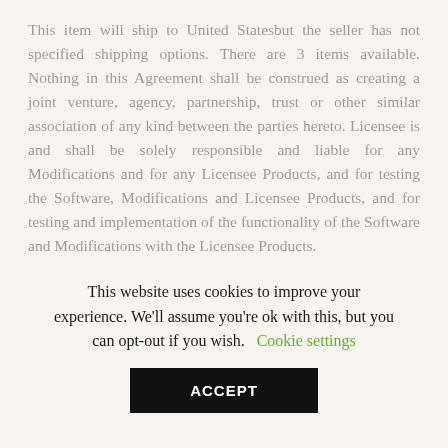This item will ship to United Statesbut the seller has not specified shipping options. There are 3 items available. Nothing in this Agreement shall be construed as creating a joint venture, agency, partnership, trust or other similar association of any kind between the parties hereto. Licensee is and shall be solely responsible and liable for any Modifications and for any Licensee Products, and for testing the Software, Modifications and Licensee Products, and for testing and implementation of the functionality of the Software and Modifications with the Licensee Products.
Nothing contained in this Agreement limits a party
This website uses cookies to improve your experience. We'll assume you're ok with this, but you can opt-out if you wish. Cookie settings
ACCEPT